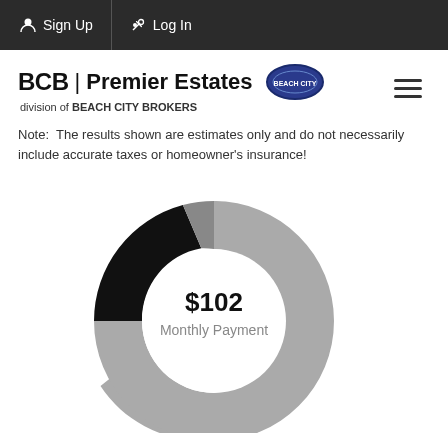Sign Up  Log In
[Figure (logo): BCB | Premier Estates logo with Beach City Brokers badge]
Note: The results shown are estimates only and do not necessarily include accurate taxes or homeowner's insurance!
[Figure (donut-chart): Donut chart showing $102 Monthly Payment with three segments: large gray, black, and dark gray]